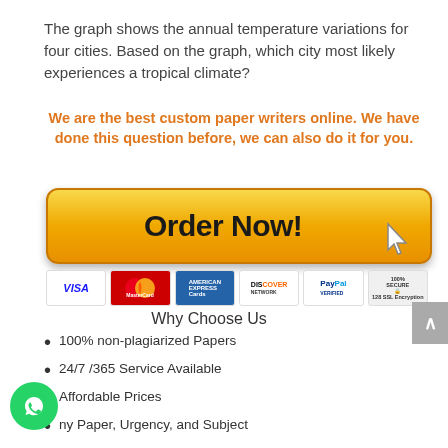The graph shows the annual temperature variations for four cities. Based on the graph, which city most likely experiences a tropical climate?
We are the best custom paper writers online. We have done this question before, we can also do it for you.
[Figure (other): Orange Order Now button with cursor icon and payment method icons (Visa, MasterCard, American Express, Discover, PayPal, 100% Secure)]
Why Choose Us
100% non-plagiarized Papers
24/7 /365 Service Available
Affordable Prices
ny Paper, Urgency, and Subject
Will complete your papers in 6 hours
On time Delivery